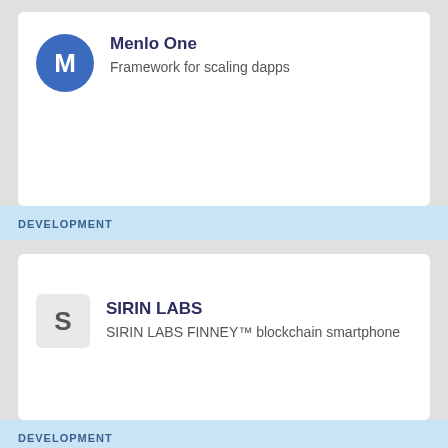Menlo One
Framework for scaling dapps
DEVELOPMENT
SIRIN LABS
SIRIN LABS FINNEY™ blockchain smartphone
DEVELOPMENT
Aurora
Scaling Solution for Ethereum.